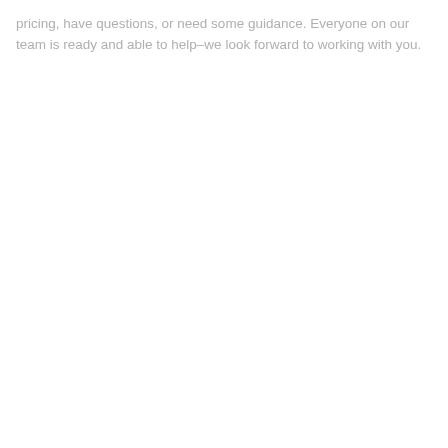pricing, have questions, or need some guidance. Everyone on our team is ready and able to help–we look forward to working with you.